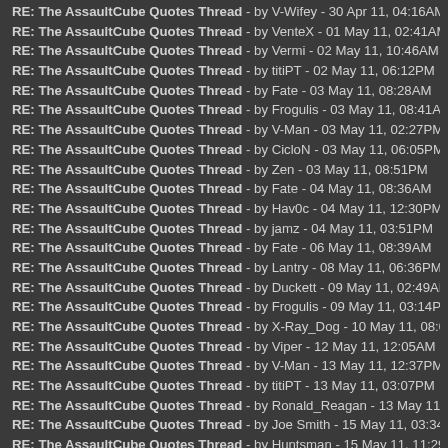RE: The AssaultCube Quotes Thread - by V-Wifey - 30 Apr 11, 04:16AM
RE: The AssaultCube Quotes Thread - by VenteX - 01 May 11, 02:41AM
RE: The AssaultCube Quotes Thread - by Vermi - 02 May 11, 10:46AM
RE: The AssaultCube Quotes Thread - by titiPT - 02 May 11, 06:12PM
RE: The AssaultCube Quotes Thread - by Fate - 03 May 11, 08:28AM
RE: The AssaultCube Quotes Thread - by Frogulis - 03 May 11, 08:41AM
RE: The AssaultCube Quotes Thread - by V-Man - 03 May 11, 02:27PM
RE: The AssaultCube Quotes Thread - by CicloN - 03 May 11, 06:05PM
RE: The AssaultCube Quotes Thread - by Zen - 03 May 11, 08:51PM
RE: The AssaultCube Quotes Thread - by Fate - 04 May 11, 08:36AM
RE: The AssaultCube Quotes Thread - by Hav0c - 04 May 11, 12:30PM
RE: The AssaultCube Quotes Thread - by jamz - 04 May 11, 03:51PM
RE: The AssaultCube Quotes Thread - by Fate - 06 May 11, 08:39AM
RE: The AssaultCube Quotes Thread - by Lantry - 08 May 11, 06:36PM
RE: The AssaultCube Quotes Thread - by Duckett - 09 May 11, 02:49AM
RE: The AssaultCube Quotes Thread - by Frogulis - 09 May 11, 03:14PM
RE: The AssaultCube Quotes Thread - by X-Ray_Dog - 10 May 11, 08:06AM
RE: The AssaultCube Quotes Thread - by Viper - 12 May 11, 12:05AM
RE: The AssaultCube Quotes Thread - by V-Man - 13 May 11, 12:37PM
RE: The AssaultCube Quotes Thread - by titiPT - 13 May 11, 03:07PM
RE: The AssaultCube Quotes Thread - by Ronald_Reagan - 13 May 11, 10:45P
RE: The AssaultCube Quotes Thread - by Joe Smith - 15 May 11, 03:34AM
RE: The AssaultCube Quotes Thread - by Huntsman - 15 May 11, 11:29AM
RE: The AssaultCube Quotes Thread - by Duckett - 15 May 11, 11:49PM
RE: The AssaultCube Quotes Thread - by vern - 16 May 11, 08:14AM